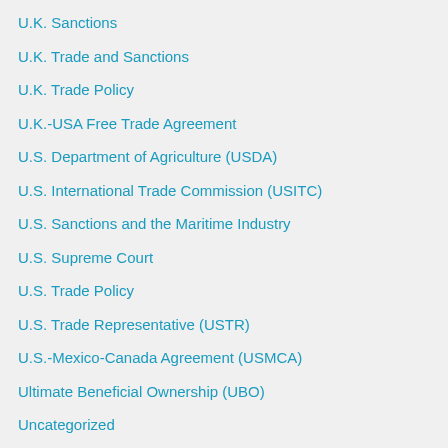U.K. Sanctions
U.K. Trade and Sanctions
U.K. Trade Policy
U.K.-USA Free Trade Agreement
U.S. Department of Agriculture (USDA)
U.S. International Trade Commission (USITC)
U.S. Sanctions and the Maritime Industry
U.S. Supreme Court
U.S. Trade Policy
U.S. Trade Representative (USTR)
U.S.-Mexico-Canada Agreement (USMCA)
Ultimate Beneficial Ownership (UBO)
Uncategorized